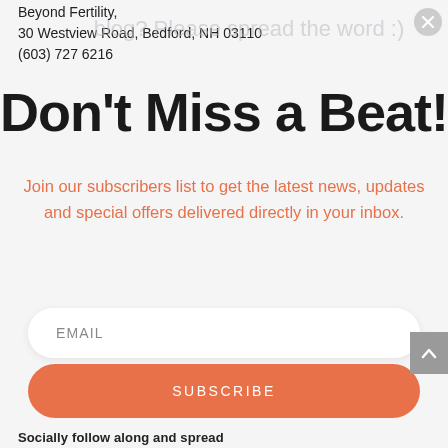Beyond Fertility,
30 Westview Road, Bedford, NH 03110
(603) 727 6216
blog? Please spread the word :)
Don't Miss a Beat!
Join our subscribers list to get the latest news, updates and special offers delivered directly in your inbox.
EMAIL
SUBSCRIBE